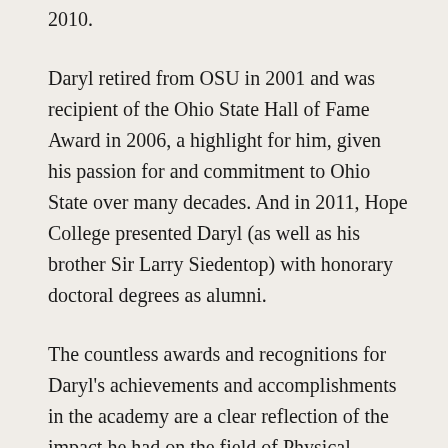2010.
Daryl retired from OSU in 2001 and was recipient of the Ohio State Hall of Fame Award in 2006, a highlight for him, given his passion for and commitment to Ohio State over many decades. And in 2011, Hope College presented Daryl (as well as his brother Sir Larry Siedentop) with honorary doctoral degrees as alumni.
The countless awards and recognitions for Daryl's achievements and accomplishments in the academy are a clear reflection of the impact he had on the field of Physical ...